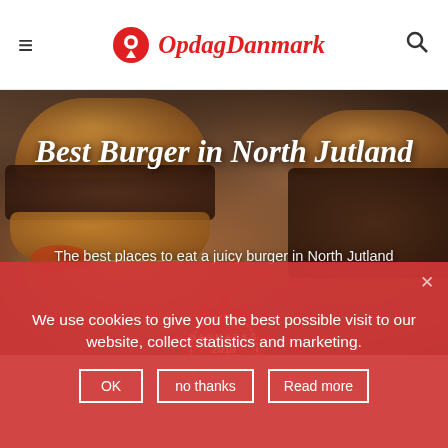OpdagDanmark
[Figure (photo): Hero image of juicy burgers on a wooden board with text overlay 'Best Burger in North Jutland' and subtitle 'The best places to eat a juicy burger in North Jutland'. A red badge with 'DANMARKS 2019 Burgers' is partially visible at the bottom.]
Best Burger in North Jutland
The best places to eat a juicy burger in North Jutland
We use cookies to give you the best possible visit to our website, collect statistics and marketing.
OK   no thanks   Read more